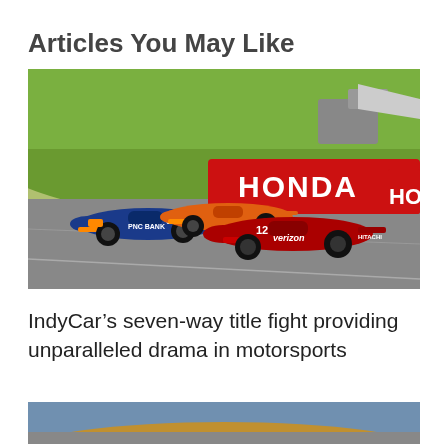Articles You May Like
[Figure (photo): Two IndyCar race cars on track — a blue PNC Bank car (#9) and an orange McLaren car racing alongside a red Verizon/Hitachi car (#12) — with a Honda advertising banner along the track barrier, green grass hill in background.]
IndyCar’s seven-way title fight providing unparalleled drama in motorsports
[Figure (photo): Partial view of a race car, cropped at bottom of page.]